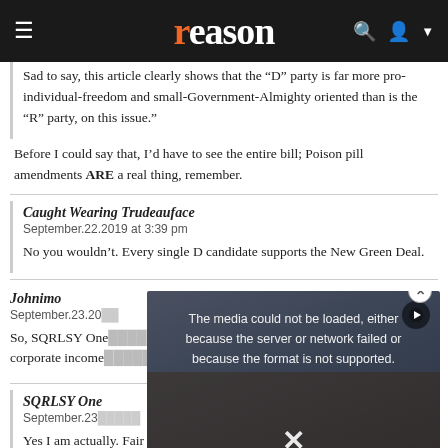reason
Sad to say, this article clearly shows that the "D" party is far more pro-individual-freedom and small-Government-Almighty oriented than is the "R" party, on this issue."
Before I could say that, I'd have to see the entire bill; Poison pill amendments ARE a real thing, remember.
Caught Wearing Trudeauface
September.22.2019 at 3:39 pm

No you wouldn't. Every single D candidate supports the New Green Deal.
Johnimo
September.23.20...

So, SQRLSY One... corporate income...
SQRLSY One
September.23...

Yes I am actually. Fair is fair. And he's also cut regulations here and
[Figure (screenshot): Video player overlay showing error message: 'The media could not be loaded, either because the server or network failed or because the format is not supported.' with a close button (X) and play button icon.]